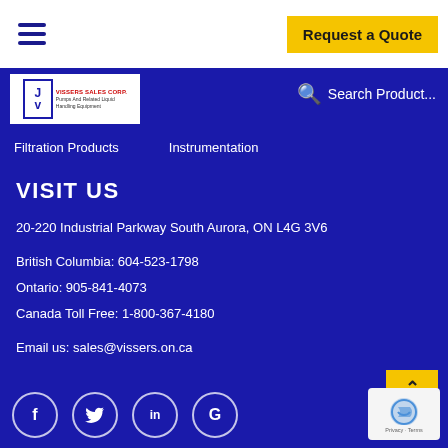Request a Quote
[Figure (logo): Vissers Sales Corp logo with JV emblem, Pumps And Related Liquid Handling Equipment]
Search Product...
Filtration Products   Instrumentation
VISIT US
20-220 Industrial Parkway South Aurora, ON L4G 3V6
British Columbia: 604-523-1798
Ontario: 905-841-4073
Canada Toll Free: 1-800-367-4180
Email us: sales@vissers.on.ca
[Figure (illustration): Social media icons: Facebook, Twitter, LinkedIn, Google in circular borders]
[Figure (illustration): reCAPTCHA badge with Privacy - Terms text]